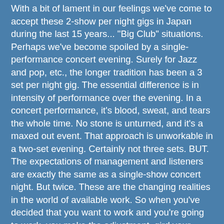With a bit of lament in our feelings we've come to accept these 2-show per night gigs in Japan during the last 15 years... "Big Club" situations. Perhaps we've become spoiled by a single-performance concert evening. Surely for Jazz and pop, etc., the longer tradition has been a 3 set per night gig. The essential difference is in intensity of performance over the evening. In a concert performance, it's blood, sweat, and tears the whole time. No stone is unturned, and it's a maxed out event. That approach is unworkable in a two-set evening. Certainly not three sets. BUT. The expectations of management and listeners are exactly the same as a single-show concert night. But twice. These are the changing realities in the world of available work. So when you've decided that you want to work and you're going to work, you make the adjustment, gird your loins, and go forth into the fray.
I was remarking to myself and Patrick with joy and wonderment about how the folks in the audience during all six performances sang in unison on the bridge to Mornin'.